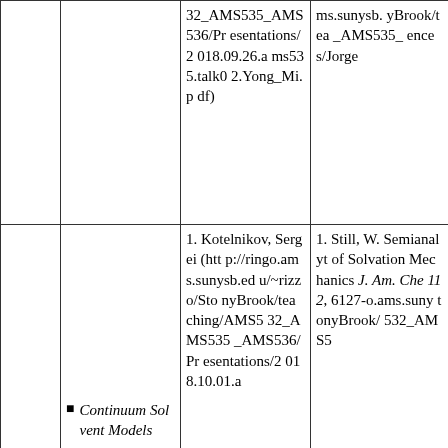|  |  | 32_AMS535_AMS536/Presentations/2018.09.26.ams535.talk02.Yong_Mi.pdf) | ms.sunysb.yBrook/tea_AMS535_ences/Jorge |
|  | • Continuum Solvent Models | 1. Kotelnikov, Sergei (http://ringo.ams.sunysb.edu/~rizzo/StonyBrook/teaching/AMS532_AMS535_AMS536/Presentations/2018.10.01.a | 1. Still, W. Semianalyt of Solvation Mechanics J. Am. Che 112, 6127-o.ams.suny tonyBrook/ 532_AMS5 |